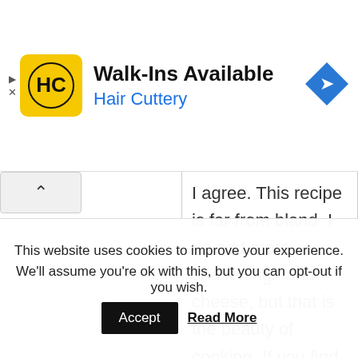[Figure (screenshot): Hair Cuttery advertisement banner with logo, 'Walk-Ins Available' text, and navigation arrow icon]
I agree. This recipe is far from bland. I do add more seasonings and cheese, but that is the beauty of cooking. If you find it bland add more spices and try substituting beef broth for the water. Great recipe. I
This website uses cookies to improve your experience. We'll assume you're ok with this, but you can opt-out if you wish.
Accept  Read More